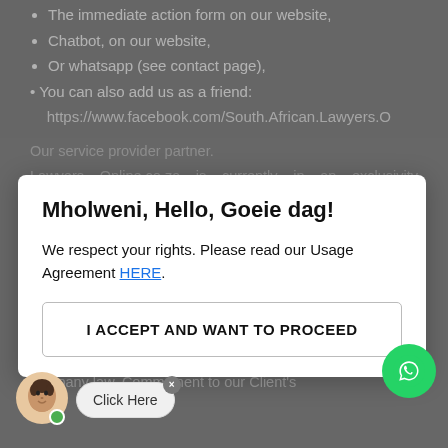The immediate action form on our website,
Chatbot, on our website,
Or whatsapp (see contact page),
You can also add us as a friend: https://www.facebook.com/South.African.Lawyers.O
Our service provider partner.
Lawyers Online.co.za is currently in an exclusivity agreement with Dhooge Law: a multidisciplinary boutique legal practice of...solutions. Our firm's expertise lie in the fields of property law and conveyancing, wills and administration of estates, all as...a commercial litigating, family law, as well as commercial and company law. Commitment to our Client's
[Figure (screenshot): Modal dialog overlay on a legal website. Title: 'Mholweni, Hello, Goeie dag!' Body text: 'We respect your rights. Please read our Usage Agreement HERE.' Button: 'I ACCEPT AND WANT TO PROCEED']
[Figure (screenshot): WhatsApp floating button (green circle with phone icon) bottom right]
[Figure (screenshot): Chat widget bottom left with avatar and 'Click Here' bubble with close X button]